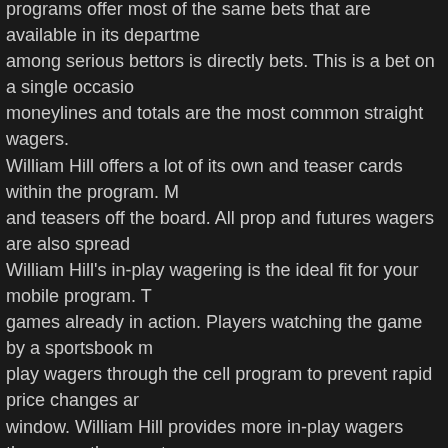programs offer most of the same bets that are available in its departme... among serious bettors is directly bets. This is a bet on a single occasio... moneylines and totals are the most common straight wagers.
William Hill offers a lot of its own and teaser cards within the program. M... and teasers off the board. All prop and futures wagers are also spread...
William Hill's in-play wagering is the ideal fit for your mobile program. T... games already in action. Players watching the game by a sportsbook m... play wagers through the cell program to prevent rapid price changes ar... window. William Hill provides more in-play wagers than any other sport...
William Hill Nevada bonuses
William Hill offers new players a 10 percentage up to $50, first-deposit... The bonus is awarded in the form of a free wager. The participant only... wager. The bonus might not be withdrawn. It's lost, even when the free...
All gamers qualify for the ongoing cash-back program. William Hill pays... amount wagered at the form of money on straight bets.
This is doubled on horseracing, parlays and teasers. Players must opti... the William Hill site or by calling customer service.
William Hill Nevada deposit options There are 3 ways to create a depos... account.
Cash is accepted at all William Hill sportsbooks. A courier will drive to...